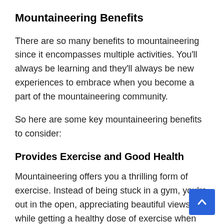Mountaineering Benefits
There are so many benefits to mountaineering since it encompasses multiple activities. You'll always be learning and they'll always be new experiences to embrace when you become a part of the mountaineering community.
So here are some key mountaineering benefits to consider:
Provides Exercise and Good Health
Mountaineering offers you a thrilling form of exercise. Instead of being stuck in a gym, you're out in the open, appreciating beautiful views while getting a healthy dose of exercise when you climb mountains.